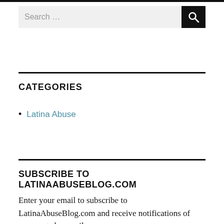[Figure (other): Search bar with text input field showing 'Search ...' placeholder and a black search button with magnifying glass icon]
CATEGORIES
Latina Abuse
SUBSCRIBE TO LATINAABUSEBLOG.COM
Enter your email to subscribe to LatinaAbuseBlog.com and receive notifications of new posts by email.